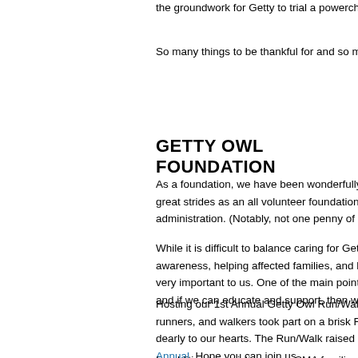the groundwork for Getty to trial a powercha
So many things to be thankful for and so ma
GETTY OWL FOUNDATION
As a foundation, we have been wonderfully e great strides as an all volunteer foundation th administration. (Notably, not one penny of Fo
While it is difficult to balance caring for Getty awareness, helping affected families, and hel very important to us. One of the main points w and if we can educate and support, then we h
Hosting our 1st Annual Getty Owl Run/Walk w runners, and walkers took part on a brisk Feb dearly to our hearts. The Run/Walk raised ov Annual. Hope you can join us.
In addition to assisting many SMA families, w gene therapy program at Nationwide Childre